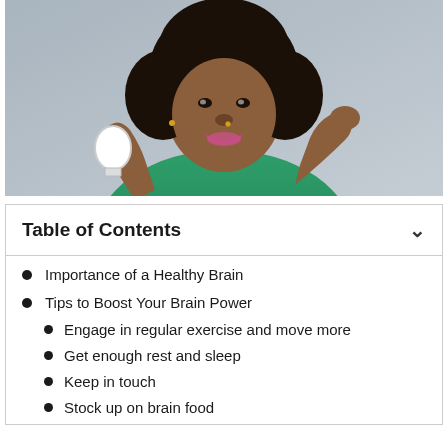[Figure (photo): A smiling woman with curly natural hair wearing a green ribbed top, holding a clear light bulb in one hand and pointing to her head with the other. Background is grey.]
Table of Contents
Importance of a Healthy Brain
Tips to Boost Your Brain Power
Engage in regular exercise and move more
Get enough rest and sleep
Keep in touch
Stock up on brain food